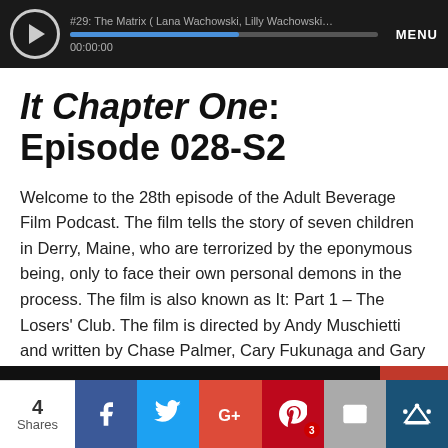[Figure (screenshot): Podcast audio player bar showing episode '#29: The Matrix (Lana Wachowski, Lilly Wachowski...' with play button, progress bar, timestamp 00:00:00, and MENU label on dark background]
It Chapter One: Episode 028-S2
Welcome to the 28th episode of the Adult Beverage Film Podcast. The film tells the story of seven children in Derry, Maine, who are terrorized by the eponymous being, only to face their own personal demons in the process. The film is also known as It: Part 1 – The Losers' Club. The film is directed by Andy Muschietti and written by Chase Palmer, Cary Fukunaga and Gary Dauberman.
[Figure (screenshot): Social share bar with 4 Shares count, Facebook, Twitter, Google+, Pinterest (3), Email, and crown icon buttons]